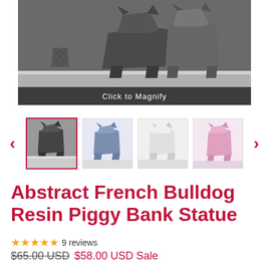[Figure (photo): Main product image showing geometric/abstract polygonal bulldog statues on a white surface with dark background. Text overlay reads 'Click to Magnify'.]
[Figure (photo): Carousel of 4 product thumbnail images showing different color variants of the Abstract French Bulldog Resin Piggy Bank Statue. Navigation arrows on left and right.]
Abstract French Bulldog Resin Piggy Bank Statue
★★★★★ 9 reviews
$65.00 USD $58.00 USD Sale